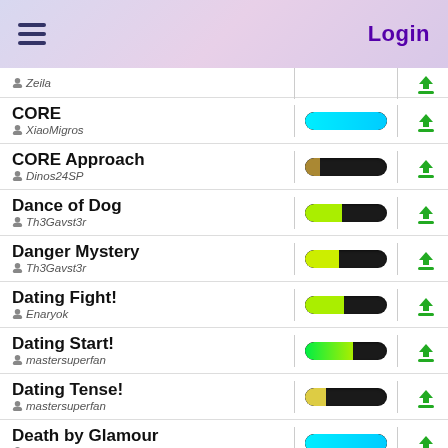Login
Zeila
CORE / XiaoMigros
CORE Approach / Dinos24SP
Dance of Dog / Th3Gavst3r
Danger Mystery / Th3Gavst3r
Dating Fight! / Enaryok
Dating Start! / mastersuperfan
Dating Tense! / mastersuperfan
Death by Glamour / mastersuperfan
Death Report